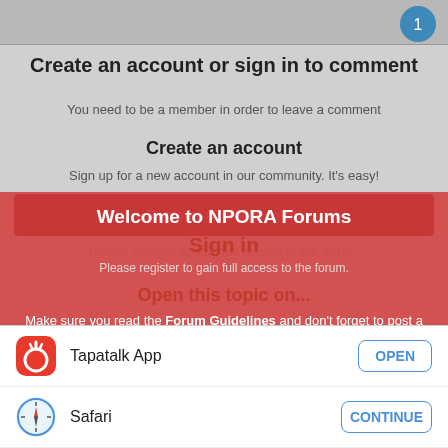Create an account or sign in to comment
You need to be a member in order to leave a comment
Create an account
Sign up for a new account in our community. It's easy!
Register a new account
Welcome to NPORA Forums
Sign in
Please register to gain full access to the forum.
Open this topic on...
Make sure you read the Forum Guidelines and don't forget to post a new intro in the New People Start Here! section, to say hi too everyone.
-NPORA
Tapatalk App
OPEN
Safari
CONTINUE